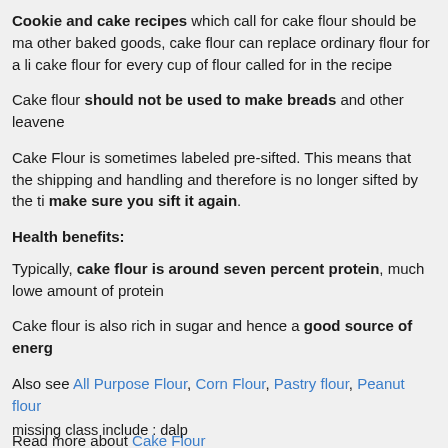Cookie and cake recipes which call for cake flour should be ma... other baked goods, cake flour can replace ordinary flour for a li... cake flour for every cup of flour called for in the recipe
Cake flour should not be used to make breads and other leavene...
Cake Flour is sometimes labeled pre-sifted. This means that the... shipping and handling and therefore is no longer sifted by the ti... make sure you sift it again.
Health benefits:
Typically, cake flour is around seven percent protein, much lowe... amount of protein
Cake flour is also rich in sugar and hence a good source of energ...
Also see All Purpose Flour, Corn Flour, Pastry flour, Peanut flour...
Read more about Cake Flour
missing class include : dalp